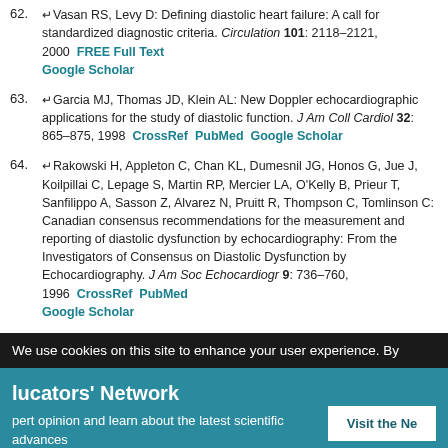62. ↵Vasan RS, Levy D: Defining diastolic heart failure: A call for standardized diagnostic criteria. Circulation 101: 2118–2121, 2000  FREE Full Text  Google Scholar
63. ↵Garcia MJ, Thomas JD, Klein AL: New Doppler echocardiographic applications for the study of diastolic function. J Am Coll Cardiol 32: 865–875, 1998  CrossRef  PubMed  Google Scholar
64. ↵Rakowski H, Appleton C, Chan KL, Dumesnil JG, Honos G, Jue J, Koilpillai C, Lepage S, Martin RP, Mercier LA, O'Kelly B, Prieur T, Sanfilippo A, Sasson Z, Alvarez N, Pruitt R, Thompson C, Tomlinson C: Canadian consensus recommendations for the measurement and reporting of diastolic dysfunction by echocardiography: From the Investigators of Consensus on Diastolic Dysfunction by Echocardiography. J Am Soc Echocardiogr 9: 736–760, 1996  CrossRef  PubMed  Google Scholar
We use cookies on this site to enhance your user experience. By
ducators' Network — expert opinion and learn about the latest scientific advances in lupus erythematosus (SLE) and lupus nephritis.